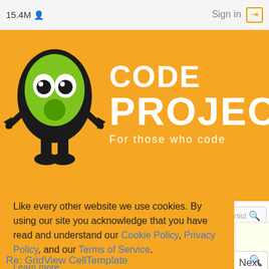15.4M   Sign in
[Figure (logo): CodeProject logo - green alien mascot with orange background, white text CODE PROJECT For those who code]
articles  Q&A  forums  stuff  lounge  ?  Search for articles
WPF
Like every other website we use cookies. By using our site you acknowledge that you have read and understand our Cookie Policy, Privacy Policy, and our Terms of Service.
Learn more
Ask me later   Decline   Allow cookies
Re: GridView CellTemplate